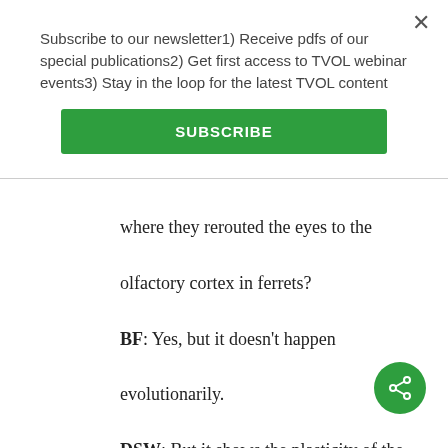Subscribe to our newsletter1) Receive pdfs of our special publications2) Get first access to TVOL webinar events3) Stay in the loop for the latest TVOL content
SUBSCRIBE
where they rerouted the eyes to the olfactory cortex in ferrets?
BF: Yes, but it doesn't happen evolutionarily.
DSW: But it shows the plasticity of the brain to be able to do that.